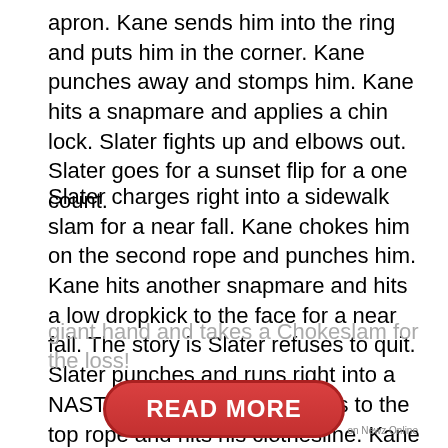apron. Kane sends him into the ring and puts him in the corner. Kane punches away and stomps him. Kane hits a snapmare and applies a chin lock. Slater fights up and elbows out. Slater goes for a sunset flip for a one count.
Slater charges right into a sidewalk slam for a near fall. Kane chokes him on the second rope and punches him. Kane hits another snapmare and hits a low dropkick to the face for a near fall. The story is Slater refuses to quit. Slater punches and runs right into a NASTY clothesline! Kane goes to the top rope and hits his clothesline. Kane hits a big uppercut and stands over him. Kane whips him into the corner and hits a clothesline. Kane sends him to the other corner and runs into a kick. Slater then runs right into Kane's
giant hand and takes a Chokeslam for the loss!
[Figure (other): Red READ MORE button with rounded rectangle shape]